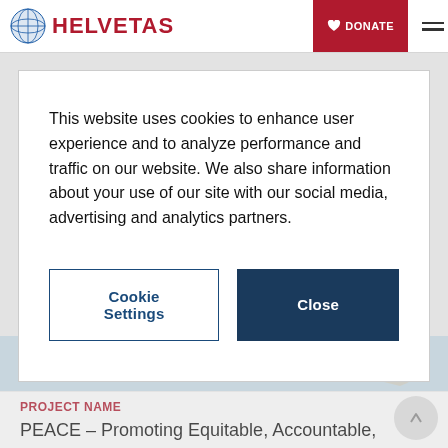HELVETAS | DONATE
This website uses cookies to enhance user experience and to analyze performance and traffic on our website. We also share information about your use of our site with our social media, advertising and analytics partners.
Cookie Settings | Close
[Figure (map): Partial map showing Gulf of region]
PROJECT NAME
PEACE – Promoting Equitable, Accountable, Civic Engagement in Myanmar